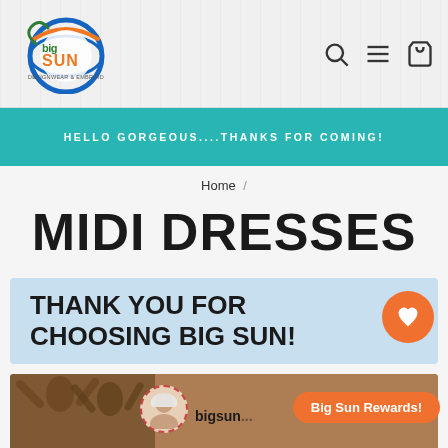[Figure (logo): Big Sun Designwear & Embroidery circular logo with orange and green text and blue circular swoosh]
HELLO GORGEOUS....THANKS FOR COMING!
Home /
MIDI DRESSES
THANK YOU FOR CHOOSING BIG SUN!
[Figure (photo): Photo strip showing people, with avatar circle and bigsun text and Big Sun Rewards button]